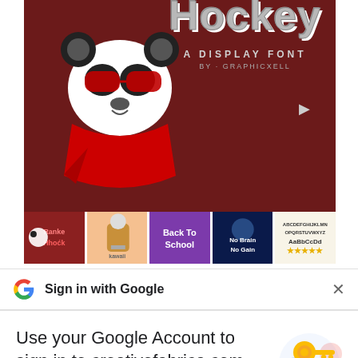[Figure (screenshot): Ranked Hockey display font promotional banner with panda mascot wearing red bandana and sunglasses, dark maroon background, with font name in large gray letters. Below are 5 thumbnail previews of other fonts.]
Sign in with Google
Use your Google Account to sign in to creativefabrica.com
No more passwords to remember. Signing in is fast, simple and secure.
Continue